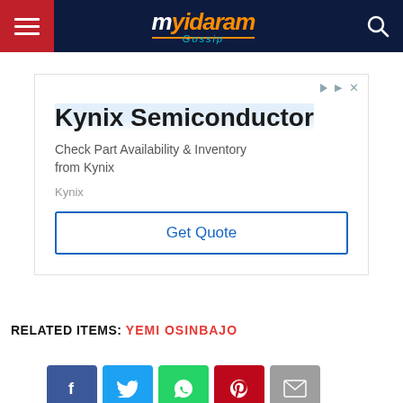[Figure (logo): Myidaram Gossip website logo with hamburger menu on red background, logo in center on dark navy header, search icon on right]
[Figure (screenshot): Advertisement for Kynix Semiconductor: 'Check Part Availability & Inventory from Kynix' with Get Quote button]
RELATED ITEMS: YEMI OSINBAJO
[Figure (infographic): Social media share buttons: Facebook (blue), Twitter (light blue), WhatsApp (green), Pinterest (red), Email (gray)]